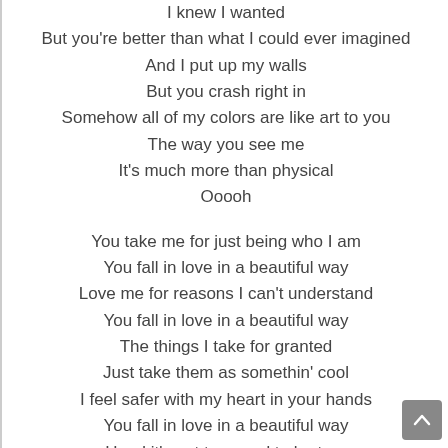I knew I wanted
But you're better than what I could ever imagined
And I put up my walls
But you crash right in
Somehow all of my colors are like art to you
The way you see me
It's much more than physical
Ooooh

You take me for just being who I am
You fall in love in a beautiful way
Love me for reasons I can't understand
You fall in love in a beautiful way
The things I take for granted
Just take them as somethin' cool
I feel safer with my heart in your hands
You fall in love in a beautiful way
Hood it's not too good to be true
Cause with you my mind would be cool
You have turned me into a believer
Guide me back to love